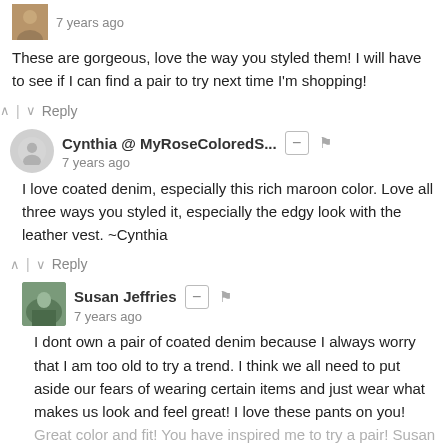[Figure (photo): Small profile photo thumbnail, top left, brown/tan tones]
7 years ago
These are gorgeous, love the way you styled them! I will have to see if I can find a pair to try next time I'm shopping!
^ | v  Reply
[Figure (illustration): Grey silhouette avatar placeholder icon for Cynthia]
Cynthia @ MyRoseColoredS...   7 years ago
I love coated denim, especially this rich maroon color. Love all three ways you styled it, especially the edgy look with the leather vest. ~Cynthia
^ | v  Reply
[Figure (photo): Small profile photo thumbnail for Susan Jeffries, outdoor/nature tones]
Susan Jeffries   7 years ago
I dont own a pair of coated denim because I always worry that I am too old to try a trend. I think we all need to put aside our fears of wearing certain items and just wear what makes us look and feel great! I love these pants on you! Great color and fit! You have inspired me to try a pair! Susan